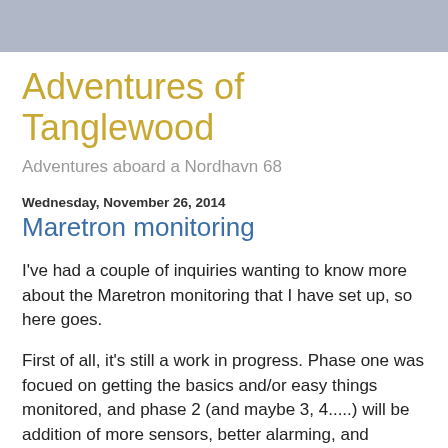Adventures of Tanglewood
Adventures aboard a Nordhavn 68
Wednesday, November 26, 2014
Maretron monitoring
I've had a couple of inquiries wanting to know more about the Maretron monitoring that I have set up, so here goes.
First of all, it's still a work in progress.  Phase one was focued on getting the basics and/or easy things monitored, and phase 2 (and maybe 3, 4.....) will be addition of more sensors, better alarming, and general tuning and adjusting based on experience as I actually use it more.
You can read all about their product line at Maretron, so I'll just do a brief overview.  They have a full line of sensors and display products for the marine industry, all using NMEA